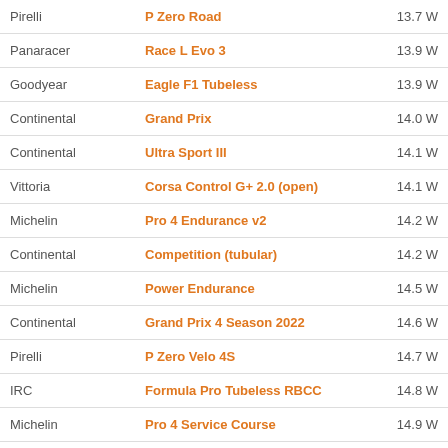| Brand | Model | Watts |
| --- | --- | --- |
| Pirelli | P Zero Road | 13.7 W |
| Panaracer | Race L Evo 3 | 13.9 W |
| Goodyear | Eagle F1 Tubeless | 13.9 W |
| Continental | Grand Prix | 14.0 W |
| Continental | Ultra Sport III | 14.1 W |
| Vittoria | Corsa Control G+ 2.0 (open) | 14.1 W |
| Michelin | Pro 4 Endurance v2 | 14.2 W |
| Continental | Competition (tubular) | 14.2 W |
| Michelin | Power Endurance | 14.5 W |
| Continental | Grand Prix 4 Season 2022 | 14.6 W |
| Pirelli | P Zero Velo 4S | 14.7 W |
| IRC | Formula Pro Tubeless RBCC | 14.8 W |
| Michelin | Pro 4 Service Course | 14.9 W |